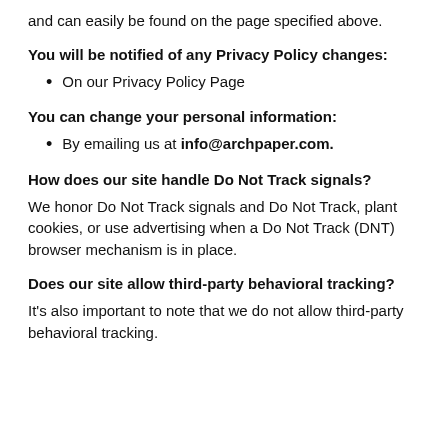and can easily be found on the page specified above.
You will be notified of any Privacy Policy changes:
On our Privacy Policy Page
You can change your personal information:
By emailing us at info@archpaper.com.
How does our site handle Do Not Track signals?
We honor Do Not Track signals and Do Not Track, plant cookies, or use advertising when a Do Not Track (DNT) browser mechanism is in place.
Does our site allow third-party behavioral tracking?
It's also important to note that we do not allow third-party behavioral tracking.